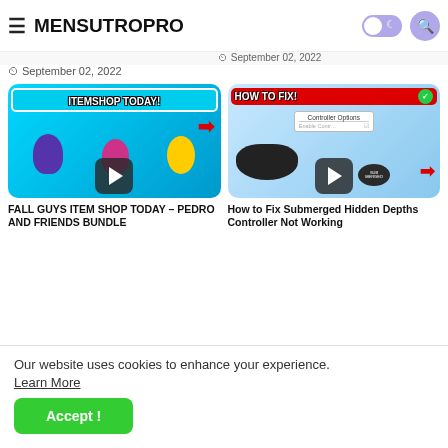MENSUTROPRO
September 02, 2022
September 02, 2022
[Figure (screenshot): Fall Guys Item Shop Today thumbnail showing three characters and red arrow with text ITEMSHOP TODAY!]
FALL GUYS ITEM SHOP TODAY – PEDRO AND FRIENDS BUNDLE
[Figure (screenshot): How to Fix Submerged Hidden Depths Controller Not Working thumbnail showing PS4 controller and controller options menu]
How to Fix Submerged Hidden Depths Controller Not Working
Our website uses cookies to enhance your experience. Learn More
Accept !